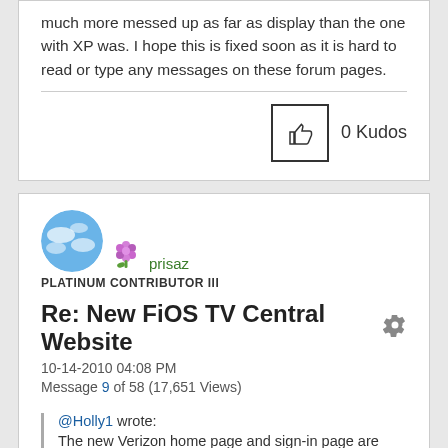much more messed up as far as display than the one with XP was. I hope this is fixed soon as it is hard to read or type any messages on these forum pages.
[Figure (other): Kudos button with thumbs up icon showing 0 Kudos]
[Figure (photo): User avatar: blue sky circle photo and flower badge icon for user prisaz]
prisaz
PLATINUM CONTRIBUTOR III
Re: New FiOS TV Central Website
10-14-2010 04:08 PM
Message 9 of 58 (17,651 Views)
@Holly1 wrote:
The new Verizon home page and sign-in page are now